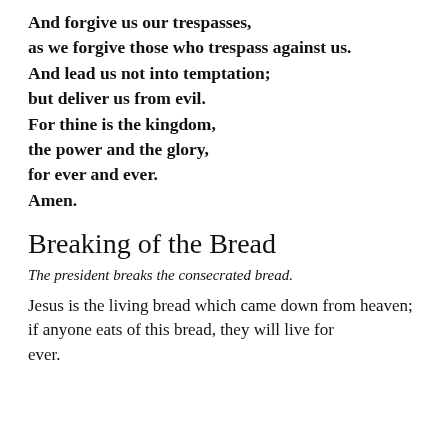And forgive us our trespasses,
as we forgive those who trespass against us.
And lead us not into temptation;
but deliver us from evil.
For thine is the kingdom,
the power and the glory,
for ever and ever.
Amen.
Breaking of the Bread
The president breaks the consecrated bread.
Jesus is the living bread which came down from heaven;
if anyone eats of this bread, they will live for ever.